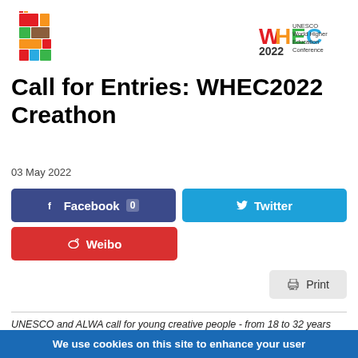[Figure (logo): WHEC 2022 UNESCO World Higher Education Conference logo with colorful geometric graphic and text]
Call for Entries: WHEC2022 Creathon
03 May 2022
[Figure (infographic): Social share buttons: Facebook 0, Twitter, Weibo]
[Figure (infographic): Print button]
UNESCO and ALWA call for young creative people - from 18 to 32 years old - committed and inspired to join the WHEC2022 Creathon to improve the quality of HED and work towards the consolidation of the SDGs, the 2030 Agenda and
We use cookies on this site to enhance your user